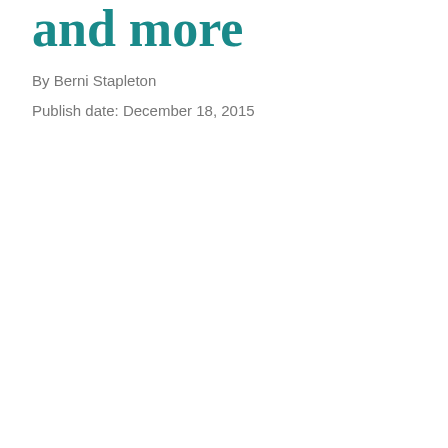and more
By Berni Stapleton
Publish date: December 18, 2015